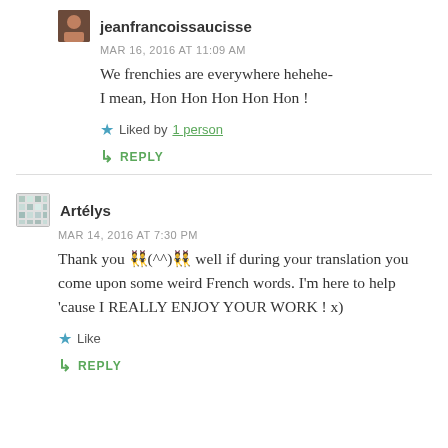jeanfrancoissaucisse
MAR 16, 2016 AT 11:09 AM
We frenchies are everywhere hehehe- I mean, Hon Hon Hon Hon Hon !
Liked by 1 person
REPLY
Artélys
MAR 14, 2016 AT 7:30 PM
Thank you ?(^^)? well if during your translation you come upon some weird French words. I'm here to help 'cause I REALLY ENJOY YOUR WORK ! x)
Like
REPLY